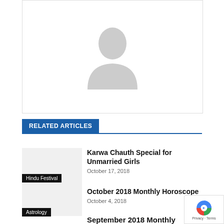[Figure (photo): Default avatar placeholder with silhouette of two people on gray background inside a bordered box]
RELATED ARTICLES
Karwa Chauth Special for Unmarried Girls
October 17, 2018
Hindu Festival
October 2018 Monthly Horoscope
October 4, 2018
Astrology
September 2018 Monthly Horoscope